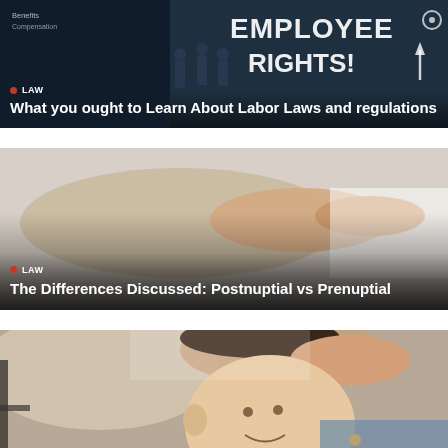[Figure (photo): Dark background chalkboard with 'EMPLOYEE RIGHTS!' text drawn, silhouettes of people with signs. Tag 'LAW' and title overlay.]
What you ought to Learn About Labor Laws and regulations
[Figure (photo): Close-up of a hand/finger pointing, light gray background. Tag 'LAW' and title overlay.]
The Differences Discussed: Postnuptial vs Prenuptial
[Figure (photo): Mother holding a smiling baby, close-up portrait style photo.]